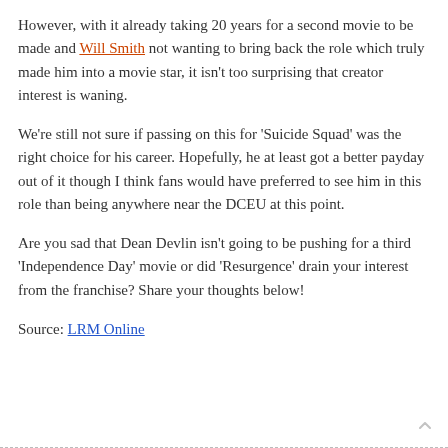However, with it already taking 20 years for a second movie to be made and Will Smith not wanting to bring back the role which truly made him into a movie star, it isn't too surprising that creator interest is waning.
We're still not sure if passing on this for 'Suicide Squad' was the right choice for his career. Hopefully, he at least got a better payday out of it though I think fans would have preferred to see him in this role than being anywhere near the DCEU at this point.
Are you sad that Dean Devlin isn't going to be pushing for a third 'Independence Day' movie or did 'Resurgence' drain your interest from the franchise? Share your thoughts below!
Source: LRM Online